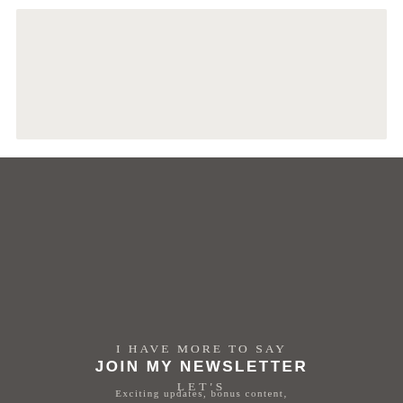[Figure (other): Light beige/grey empty card area at the top of the page]
I HAVE MORE TO SAY
JOIN MY NEWSLETTER
Exciting updates, bonus content, exclusive giveaways
NAME
EMAIL
JOIN!
LET'S